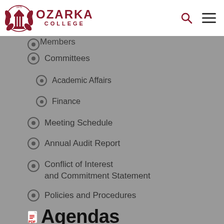Ozarka College
Members
Committees
Academic Affairs
Finance
Meeting Schedule
Annual Audit Report
Conflict of Interest and Commitment Statement
Policies and Procedures
Agendas
» Mar 17, 2022
» Dec 16, 2021
» Sep 21, 2021
» May 22, 2021